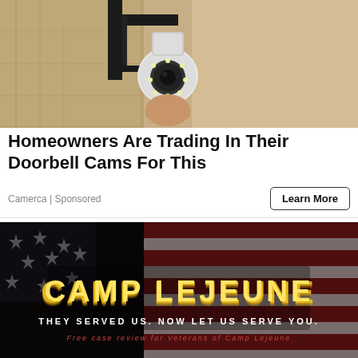[Figure (photo): Security camera mounted on wall bracket against a textured stone/concrete wall]
Homeowners Are Trading In Their Doorbell Cams For This
Camerca | Sponsored
[Figure (photo): Dark background with American flag imagery. Large gold glowing text reads CAMP LEJEUNE. Below: THEY SERVED US. NOW LET US SERVE YOU. Subtitle in red: Free case review for Veterans of Camp Lejeune]